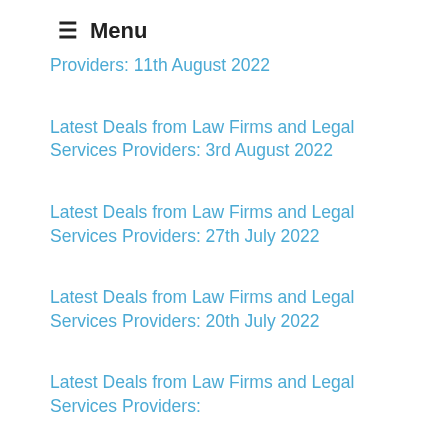≡ Menu
Latest Deals from Law Firms and Legal Services Providers: 11th August 2022
Latest Deals from Law Firms and Legal Services Providers: 3rd August 2022
Latest Deals from Law Firms and Legal Services Providers: 27th July 2022
Latest Deals from Law Firms and Legal Services Providers: 20th July 2022
Latest Deals from Law Firms and Legal Services Providers: